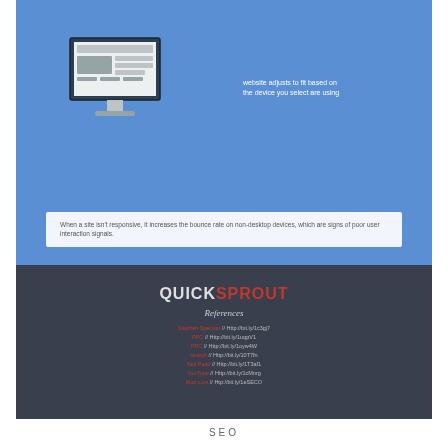[Figure (infographic): Blue infographic section showing a desktop monitor with a webpage layout on screen, and a white text box reading: 'When a site isn't responsive, it increases the bounce rate on non-desktop devices, which are signs of poor user interaction signals.']
[Figure (infographic): Dark navy/charcoal section with QuickSprout logo (QUICK in white, SPROUT in red), References heading, and a list of 7 references with red source names and grey URLs]
SEO